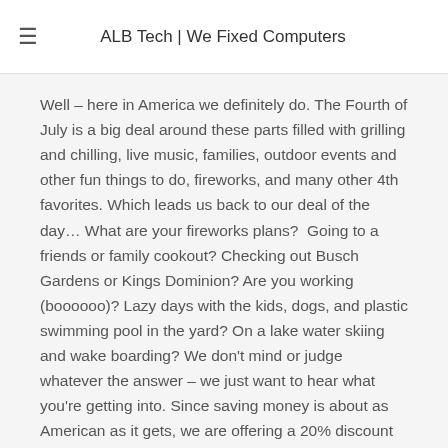ALB Tech | We Fixed Computers
Well – here in America we definitely do. The Fourth of July is a big deal around these parts filled with grilling and chilling, live music, families, outdoor events and other fun things to do, fireworks, and many other 4th favorites. Which leads us back to our deal of the day… What are your fireworks plans?  Going to a friends or family cookout? Checking out Busch Gardens or Kings Dominion? Are you working (boooooo)? Lazy days with the kids, dogs, and plastic swimming pool in the yard? On a lake water skiing and wake boarding? We don't mind or judge whatever the answer – we just want to hear what you're getting into. Since saving money is about as American as it gets, we are offering a 20% discount off your service total today if you come in the shop and talk about your July 4th plans. Seriously 20 American Percents off your service total just for talking